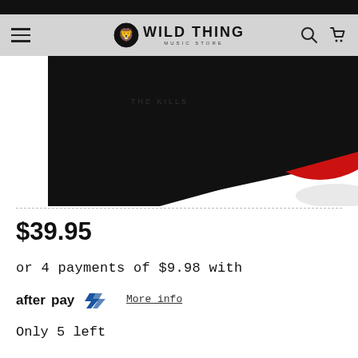Wild Thing Music Store navigation bar
[Figure (photo): Partial view of a vinyl record album with black and red cover art, showing a triangular black shape and a red circle on white background]
$39.95
or 4 payments of $9.98 with
afterpay  More info
Only 5 left